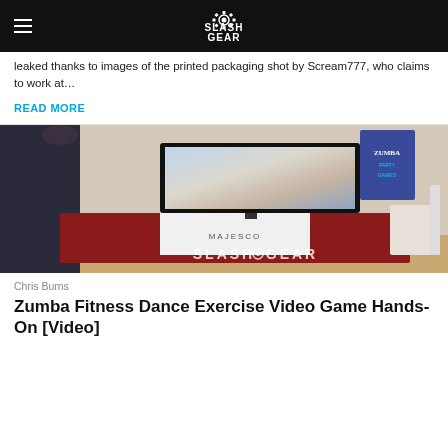SlashGear
leaked thanks to images of the printed packaging shot by Scream777, who claims to work at…
READ MORE
[Figure (photo): Person dancing at a Zumba Fitness event in front of a TV display at a Majesco booth, with SlashGear watermark overlay]
Chris Burns
Zumba Fitness Dance Exercise Video Game Hands-On [Video]